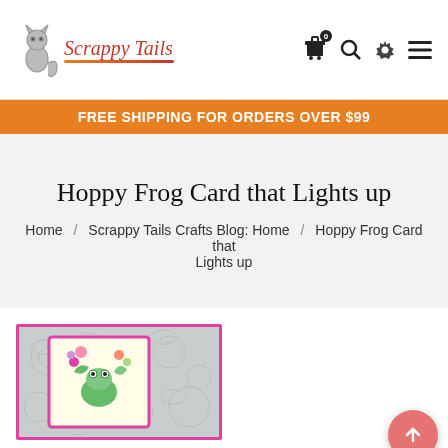Scrappy Tails — navigation header with logo and icons
FREE SHIPPING FOR ORDERS OVER $99
Hoppy Frog Card that Lights up
Home / Scrappy Tails Crafts Blog: Home / Hoppy Frog Card that Lights up
[Figure (photo): Crafted frog card with colorful floral frog illustration framed with pink border, placed on embossed silver decorative background]